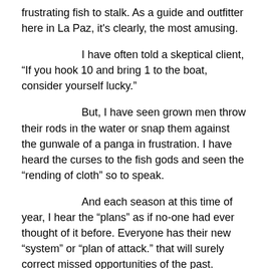frustrating fish to stalk.  As a guide and outfitter here in La Paz, it's clearly, the most amusing.
I have often told a skeptical client, “If you hook 10 and bring 1 to the boat, consider yourself lucky.”
But, I have seen grown men throw their rods in the water or snap them against the gunwale of a panga in frustration.  I have heard the curses to the fish gods and seen the “rending of cloth” so to speak.
And each season at this time of year, I hear the “plans” as if no-one had ever thought of it before.  Everyone has their new “system” or “plan of attack.” that will surely correct missed opportunities of the past.
“This time, I’m using a shorter rod, but a bigger reel.”